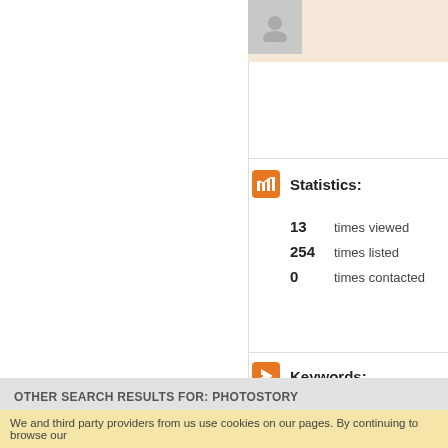[Figure (screenshot): Profile icon / avatar placeholder in top right area with beige background]
Statistics:
13   times viewed
254  times listed
0    times contacted
Keywords:
Business & Professional Services Northampton, Portrait Northampton
PhotoStory - Northampton - No
id  0300004283222
OTHER SEARCH RESULTS FOR: PHOTOSTORY
Photostory Deluxe Create animated slidesho
https://www.magix.com/gb/photo-graphic/photostory/
[Figure (screenshot): TRANSLATOR box label]
We and third party providers from us use cookies on our pages. By continuing to browse our